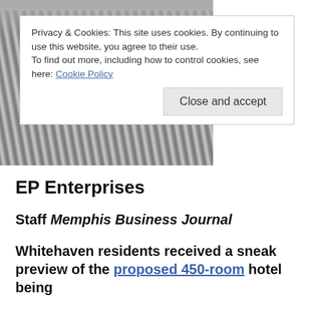[Figure (photo): Grayscale photo of a person wearing a striped jacket, partially obscured by cookie consent banner]
Privacy & Cookies: This site uses cookies. By continuing to use this website, you agree to their use.
To find out more, including how to control cookies, see here: Cookie Policy
Close and accept
EP Enterprises
Staff Memphis Business Journal
Whitehaven residents received a sneak preview of the proposed 450-room hotel being